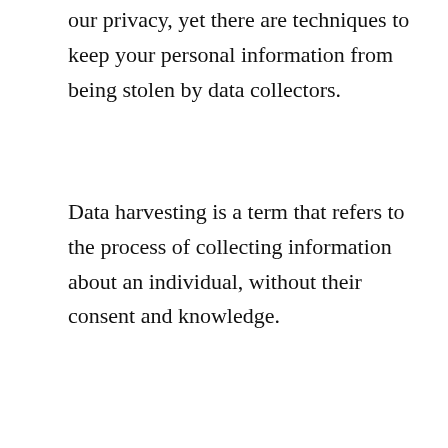our privacy, yet there are techniques to keep your personal information from being stolen by data collectors.
Data harvesting is a term that refers to the process of collecting information about an individual, without their consent and knowledge.
When we browse the internet or make online transactions, we are frequently subjected to data harvesting.
The problem with this is that every time you
[Figure (other): Advertisement banner for Lidl store in Ashburn showing OPEN 8AM-9PM and address 44175 Ashbrook Marketplace Plaza]
your personal information in order to